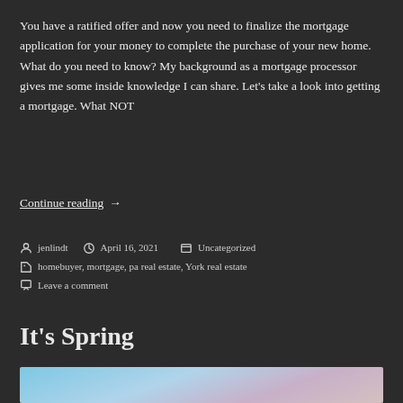You have a ratified offer and now you need to finalize the mortgage application for your money to complete the purchase of your new home.  What do you need to know? My background as a mortgage processor gives me some inside knowledge I can share.  Let's take a look into getting a mortgage.  What NOT
Continue reading  →
jenlindt   April 16, 2021   Uncategorized
homebuyer, mortgage, pa real estate, York real estate
Leave a comment
It's Spring
[Figure (photo): Spring blossoms photo with blue sky background and pink/white flowers]